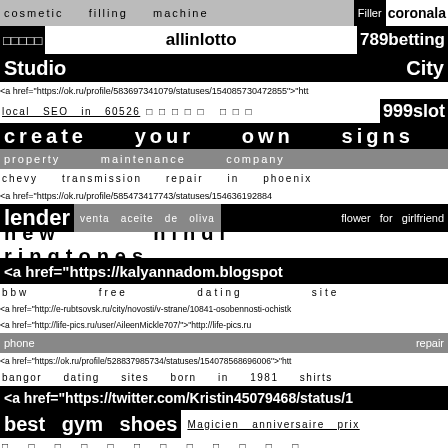cosmetic filling machine Filler coronala
□□□□□ allinlotto 789betting
Studio City
<a href="https://ok.ru/profile/583697341079/statuses/154085730472855">"htt
local SEO in 60526 □□□□□ □□□ 999slot
create your own signs
property maintenance company
chevy transmission repair in phoenix
<a href="https://ok.ru/profile/585473417743/statuses/154636192884
lender venta aceite de oliva flower for girlfriend
new hindi ringtones
<a href="https://kalyannadom.blogspot
bbw free dating site
<a href="http://e-rubtsovsk.ru/city/novosti/v-strane/10841-osobennosti-ochistk
<a href="http://life-pics.ru/user/AileenMickle707/">"http://life-pics.ru
phone repair
<a href="https://ok.ru/profile/528837985734/statuses/154078568696006">"htt
bangor dating sites born in 1981 shirts
<a href="https://twitter.com/Kristin45079468/status/1
best gym shoes Magicien anniversaire prix
□ □ □ □ □ □ □ □ □ □ □ □